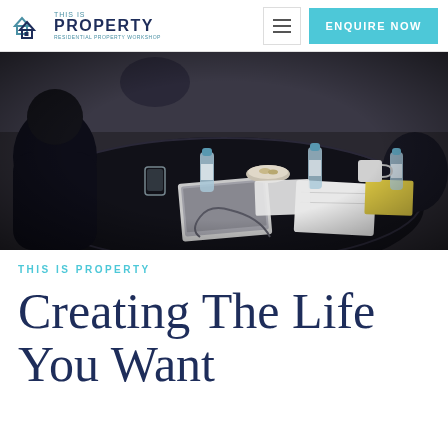THIS IS PROPERTY — ENQUIRE NOW
[Figure (photo): Workshop scene with people seated around a dark round table with water bottles, notebooks, cups, and papers on it]
THIS IS PROPERTY
Creating The Life You Want